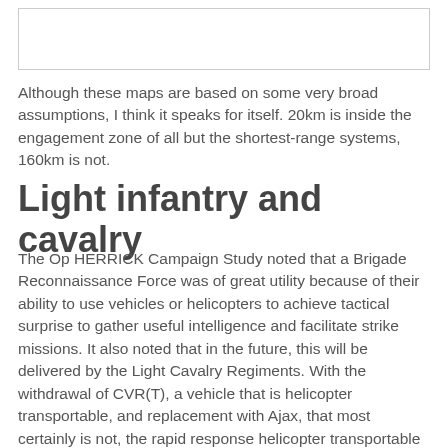[Figure (other): A rectangular image placeholder box at the top of the page]
Although these maps are based on some very broad assumptions, I think it speaks for itself. 20km is inside the engagement zone of all but the shortest-range systems, 160km is not.
Light infantry and cavalry
The Op HERRICK Campaign Study noted that a Brigade Reconnaissance Force was of great utility because of their ability to use vehicles or helicopters to achieve tactical surprise to gather useful intelligence and facilitate strike missions. It also noted that in the future, this will be delivered by the Light Cavalry Regiments. With the withdrawal of CVR(T), a vehicle that is helicopter transportable, and replacement with Ajax, that most certainly is not, the rapid response helicopter transportable light armour capability has been a feature of a number of